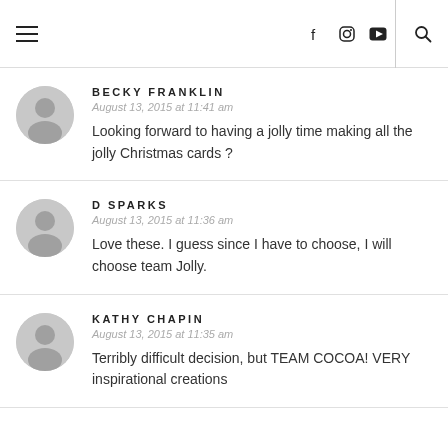Navigation header with hamburger menu, social icons (Facebook, Instagram, YouTube), and search icon
BECKY FRANKLIN — August 13, 2015 at 11:41 am — Looking forward to having a jolly time making all the jolly Christmas cards ?
D SPARKS — August 13, 2015 at 11:36 am — Love these. I guess since I have to choose, I will choose team Jolly.
KATHY CHAPIN — August 13, 2015 at 11:35 am — Terribly difficult decision, but TEAM COCOA! VERY inspirational creations